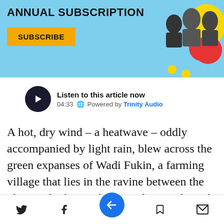[Figure (infographic): Light blue subscription banner with ANNUAL SUBSCRIPTION text, orange SUBSCRIBE button, decorative red and yellow circles, and black-and-white photo of three men on the right side.]
[Figure (other): Audio player widget: dark circular play button, text 'Listen to this article now', time '04:33', globe icon, 'Powered by Trinity Audio']
A hot, dry wind – a heatwave – oddly accompanied by light rain, blew across the green expanses of Wadi Fukin, a farming village that lies in the ravine between the ultra-Orthodox settlement of Betar Ilit and the community of Tzur Hadassah, which abuts the Green Line on the Isr  ide, southwest of
[Figure (infographic): Bottom navigation toolbar with Twitter, Facebook, blue circular arrow icon (center), bookmark, and email icons.]